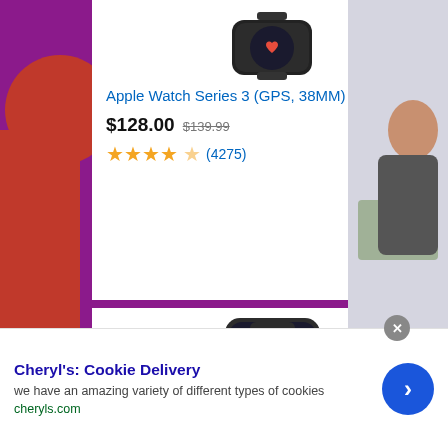[Figure (screenshot): E-commerce product listing screenshot showing Apple Watch Series 3 and Apple iPhone X product cards on a purple background, with an advertisement banner for Cheryl's Cookie Delivery at the bottom.]
Apple Watch Series 3 (GPS, 38MM) - S...
$128.00 $139.99
(4275)
Apple Iphone X, 256GB, Space Gray -...
$264.00 $294.95
Cheryl's: Cookie Delivery
we have an amazing variety of different types of cookies
cheryls.com